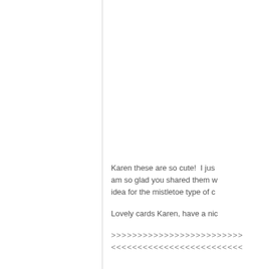Karen these are so cute!  I just am so glad you shared them w... idea for the mistletoe type of c...
Lovely cards Karen, have a nic...
>>>>>>>>>>>>>>>>>>>>>>>>>
<<<<<<<<<<<<<<<<<<<<<<<<<<